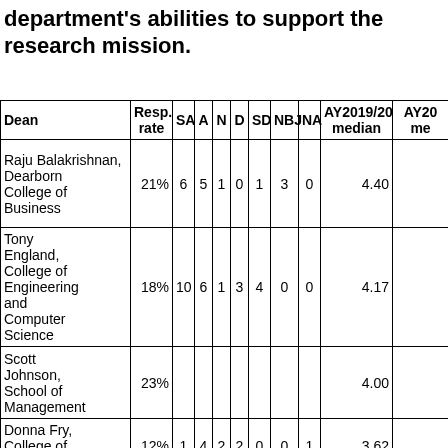department's abilities to support the research mission.
| Dean | Resp. rate | SA | A | N | D | SD | NBJ | NA | AY2019/20 median | AY20... me... |
| --- | --- | --- | --- | --- | --- | --- | --- | --- | --- | --- |
| Raju Balakrishnan, Dearborn College of Business | 21% | 6 | 5 | 1 | 0 | 1 | 3 | 0 | 4.40 |  |
| Tony England, College of Engineering and Computer Science | 18% | 10 | 6 | 1 | 3 | 4 | 0 | 0 | 4.17 |  |
| Scott Johnson, School of Management | 23% |  |  |  |  |  |  |  | 4.00 |  |
| Donna Fry, College of Health... | 12% | 1 | 4 | 2 | 2 | 0 | 0 | 1 | 3.62 |  |